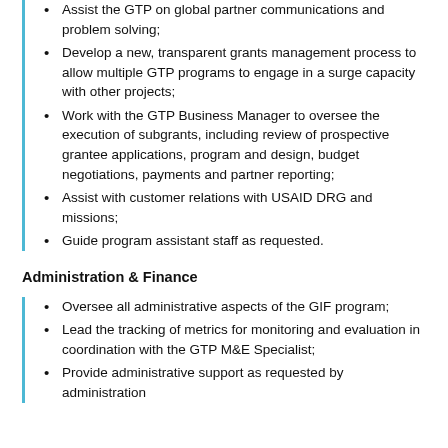Assist the GTP on global partner communications and problem solving;
Develop a new, transparent grants management process to allow multiple GTP programs to engage in a surge capacity with other projects;
Work with the GTP Business Manager to oversee the execution of subgrants, including review of prospective grantee applications, program and design, budget negotiations, payments and partner reporting;
Assist with customer relations with USAID DRG and missions;
Guide program assistant staff as requested.
Administration & Finance
Oversee all administrative aspects of the GIF program;
Lead the tracking of metrics for monitoring and evaluation in coordination with the GTP M&E Specialist;
Provide administrative support as requested by administration